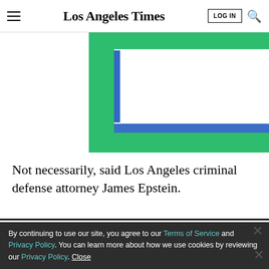Los Angeles Times
[Figure (illustration): Partial graphic with green and blue rectangular shapes on white background, cropped at top]
Not necessarily, said Los Angeles criminal defense attorney James Epstein.
LIMITED-TIME OFFER
$1 for 6 Months
SUBSCRIBE NOW
By continuing to use our site, you agree to our Terms of Service and Privacy Policy. You can learn more about how we use cookies by reviewing our Privacy Policy. Close